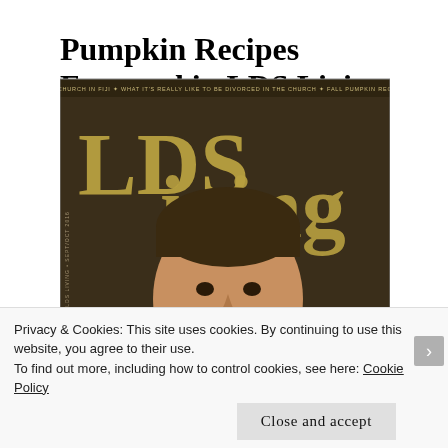Pumpkin Recipes Featured in LDS Living Sept/Oct 2016 Issue!!
[Figure (photo): Cover of LDS Living magazine Sept/Oct 2016 issue featuring Steve Young. The cover shows a large 'LDS Living' title in gold/olive letters, a smiling man (Steve Young) in a blue plaid shirt, and text including 'THE CHURCH IN FIJI', 'WHAT IT'S REALLY LIKE TO BE DIVORCED IN THE CHURCH', 'FALL PUMPKIN RECIPES', and 'COMPLEMENTING YOUR LIFESTYLE'.]
Privacy & Cookies: This site uses cookies. By continuing to use this website, you agree to their use.
To find out more, including how to control cookies, see here: Cookie Policy
Close and accept